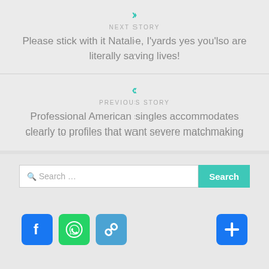> NEXT STORY
Please stick with it Natalie, I'yards yes you'lso are literally saving lives!
< PREVIOUS STORY
Professional American singles accommodates clearly to profiles that want severe matchmaking
[Figure (screenshot): Search bar with teal Search button]
[Figure (infographic): Social share icons: Facebook (blue), WhatsApp (green), link (blue), plus (blue)]